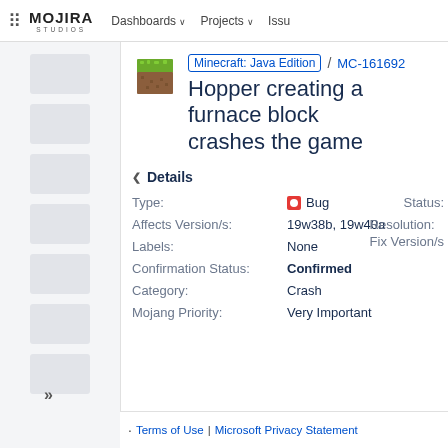Mojira Studios | Dashboards ∨ | Projects ∨ | Issu
[Figure (screenshot): Minecraft grass block icon]
Minecraft: Java Edition / MC-161692
Hopper creating a furnace block crashes the game
Details
Type: Bug
Status:
Affects Version/s: 19w38b, 19w40a
Resolution: Fix Version/s:
Labels: None
Confirmation Status: Confirmed
Category: Crash
Mojang Priority: Very Important
Terms of Use | Microsoft Privacy Statement